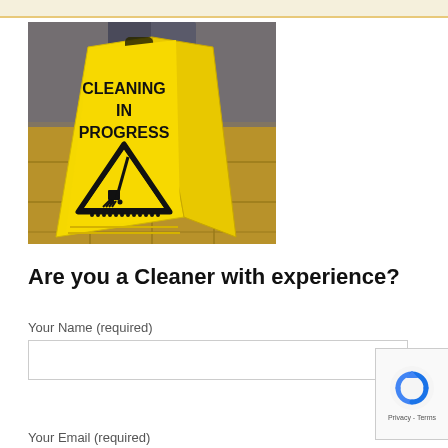[Figure (photo): A yellow wet floor / cleaning in progress A-frame caution sign with bold black text reading 'CLEANING IN PROGRESS' and a triangular warning symbol showing a janitor with mop and bucket, photographed on a tiled floor.]
Are you a Cleaner with experience?
Your Name (required)
Your Email (required)